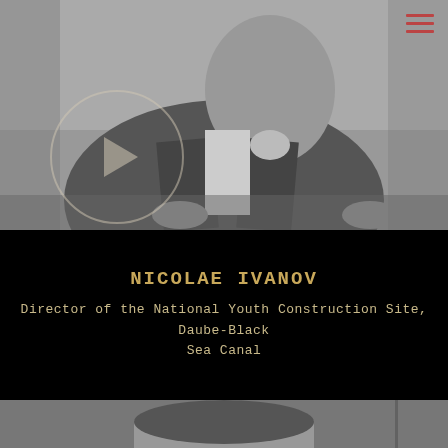[Figure (photo): Black and white photo of an older man in a suit jacket and white shirt, seated, with a circular play button overlay on the left side and a hamburger menu icon in the top right corner.]
NICOLAE IVANOV
Director of the National Youth Construction Site, Daube-Black Sea Canal
[Figure (photo): Partial black and white photo of a person's head visible at the bottom of the page.]